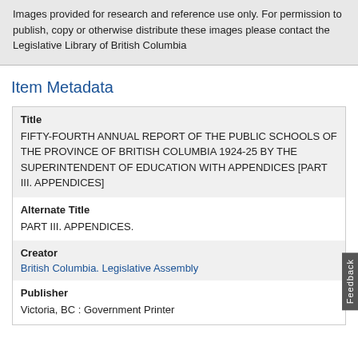Images provided for research and reference use only. For permission to publish, copy or otherwise distribute these images please contact the Legislative Library of British Columbia
Item Metadata
| Title | FIFTY-FOURTH ANNUAL REPORT OF THE PUBLIC SCHOOLS OF THE PROVINCE OF BRITISH COLUMBIA 1924-25 BY THE SUPERINTENDENT OF EDUCATION WITH APPENDICES [PART III. APPENDICES] |
| Alternate Title | PART III. APPENDICES. |
| Creator | British Columbia. Legislative Assembly |
| Publisher | Victoria, BC : Government Printer |